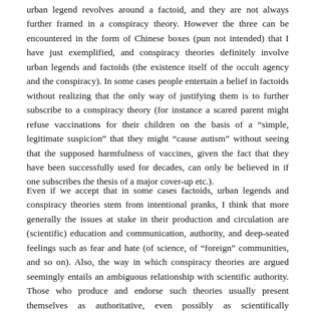urban legend revolves around a factoid, and they are not always further framed in a conspiracy theory. However the three can be encountered in the form of Chinese boxes (pun not intended) that I have just exemplified, and conspiracy theories definitely involve urban legends and factoids (the existence itself of the occult agency and the conspiracy). In some cases people entertain a belief in factoids without realizing that the only way of justifying them is to further subscribe to a conspiracy theory (for instance a scared parent might refuse vaccinations for their children on the basis of a “simple, legitimate suspicion” that they might “cause autism” without seeing that the supposed harmfulness of vaccines, given the fact that they have been successfully used for decades, can only be believed in if one subscribes the thesis of a major cover-up etc.).
Even if we accept that in some cases factoids, urban legends and conspiracy theories stem from intentional pranks, I think that more generally the issues at stake in their production and circulation are (scientific) education and communication, authority, and deep-seated feelings such as fear and hate (of science, of “foreign” communities, and so on). Also, the way in which conspiracy theories are argued seemingly entails an ambiguous relationship with scientific authority. Those who produce and endorse such theories usually present themselves as authoritative, even possibly as scientifically authoritative, but: